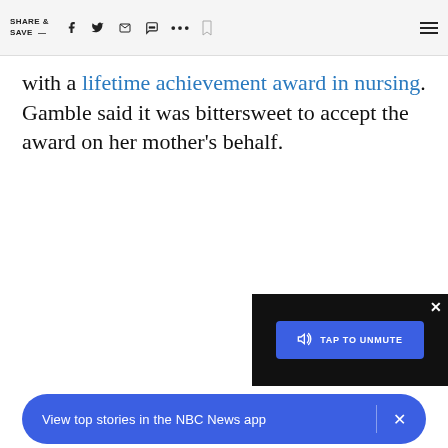SHARE & SAVE — [social icons: Facebook, Twitter, Email, Message, More, Bookmark, Menu]
with a lifetime achievement award in nursing. Gamble said it was bittersweet to accept the award on her mother's behalf.
[Figure (screenshot): Video overlay with blue TAP TO UNMUTE button and close X button on dark background]
[Figure (screenshot): Blue rounded banner: 'View top stories in the NBC News app' with a close X button]